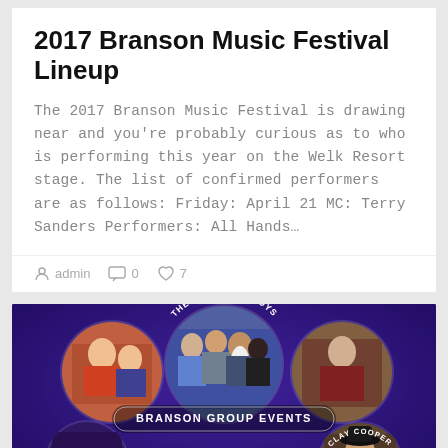2017 Branson Music Festival Lineup
The 2017 Branson Music Festival is drawing near and you're probably curious as to who is performing this year on the Welk Resort stage. The list of confirmed performers are as follows: Friday: April 21 MC:  Terry Sanders Performers: All Hands…
admin  0  7
[Figure (photo): Branson Group Events promotional image showing circular photos of performers including The Oak Ridge Boys, Million Dollar Quartet, Clay Cooper, and others on a purple background with text 'BRANSON GROUP EVENTS' and 'SEE THE WORLD']